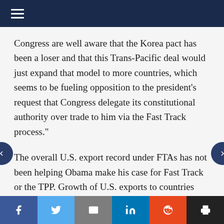hamburger menu icon
Congress are well aware that the Korea pact has been a loser and that this Trans-Pacific deal would just expand that model to more countries, which seems to be fueling opposition to the president’s request that Congress delegate its constitutional authority over trade to him via the Fast Track process.”
The overall U.S. export record under FTAs has not been helping Obama make his case for Fast Track or the TPP. Growth of U.S. exports to countries that are not FTA partners has actually exceeded U.S. export growth to countries that
Share buttons: Facebook, Twitter, Email, LinkedIn, Reddit, Print